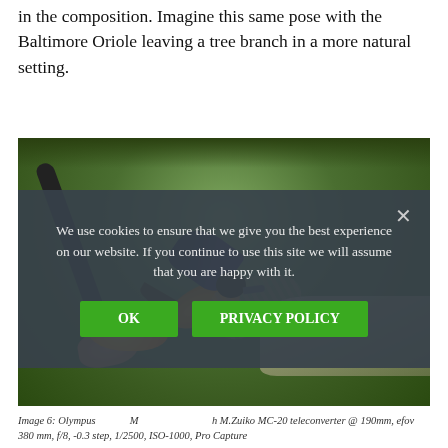in the composition. Imagine this same pose with the Baltimore Oriole leaving a tree branch in a more natural setting.
[Figure (photo): A Baltimore Oriole bird in flight, wings spread, lifting off from a metal feeder pole near a sliced orange, with a blurred green background and a hand visible at bottom left.]
We use cookies to ensure that we give you the best experience on our website. If you continue to use this site we will assume that you are happy with it.
Image 6: Olympus ... M... ...h M.Zuiko MC-20 teleconverter @ 190mm, efov 380 mm, f/8, -0.3 step, 1/2500, ISO-1000, Pro Capture